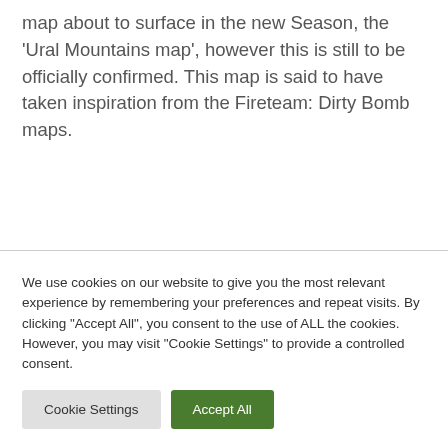map about to surface in the new Season, the 'Ural Mountains map', however this is still to be officially confirmed. This map is said to have taken inspiration from the Fireteam: Dirty Bomb maps.
We use cookies on our website to give you the most relevant experience by remembering your preferences and repeat visits. By clicking "Accept All", you consent to the use of ALL the cookies. However, you may visit "Cookie Settings" to provide a controlled consent.